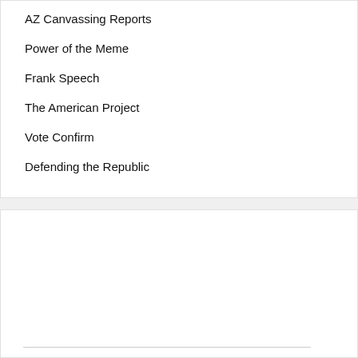AZ Canvassing Reports
Power of the Meme
Frank Speech
The American Project
Vote Confirm
Defending the Republic
Liz's Voter Integrity Project
Signup for news and help make Arizona the first domino to fall!